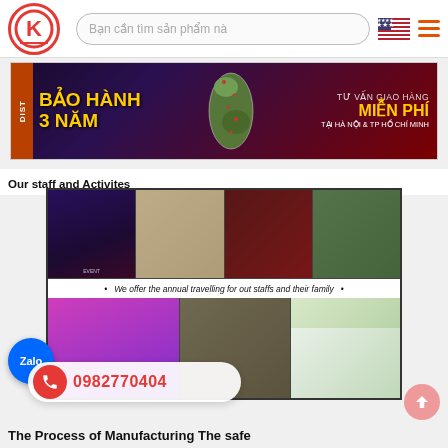Bạn cần tìm sản phẩm nà [search bar] [US flag] [menu]
[Figure (infographic): Banner advertisement: BẢO HÀNH 3 NĂM | TƯ VẤN GIAO HÀNG MIỄN PHÍ TẠI HÀ NỘI & TP HỒ CHÍ MINH with map of Vietnam]
Our staff and Activites
[Figure (photo): Collage of staff activity photos with caption: We offer the annual travelling for out staffs and their family]
We offer the annual travelling for out staffs and their family
0982770404
The Process of Manufacturing The safe